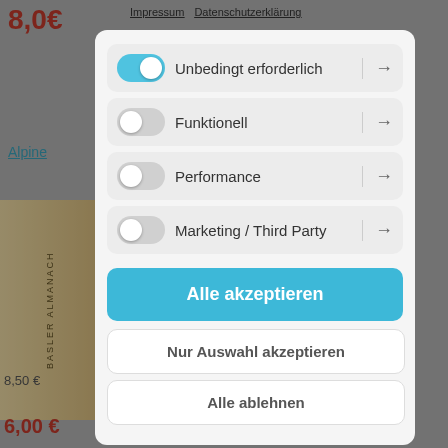Impressum   Datenschutzerklärung
Unbedingt erforderlich →
Funktionell →
Performance →
Marketing / Third Party →
Alle akzeptieren
Nur Auswahl akzeptieren
Alle ablehnen